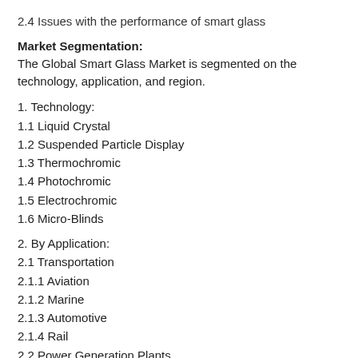2.4 Issues with the performance of smart glass
Market Segmentation: The Global Smart Glass Market is segmented on the technology, application, and region.
1. Technology:
1.1 Liquid Crystal
1.2 Suspended Particle Display
1.3 Thermochromic
1.4 Photochromic
1.5 Electrochromic
1.6 Micro-Blinds
2. By Application:
2.1 Transportation
2.1.1 Aviation
2.1.2 Marine
2.1.3 Automotive
2.1.4 Rail
2.2 Power Generation Plants
2.3 Architecture